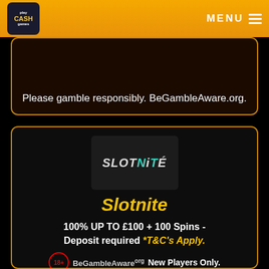playcashgames MENU
Please gamble responsibly. BeGambleAware.org.
[Figure (logo): Slotnite casino logo - dark background with stylized SLOTNITE text in white and teal italic lettering]
Slotnite
100% UP TO £100 + 100 Spins - Deposit required *T&C's Apply.
18+ BeGambleAware.org New Players Only.
Slotnite Casino launched with White Hat Gaming